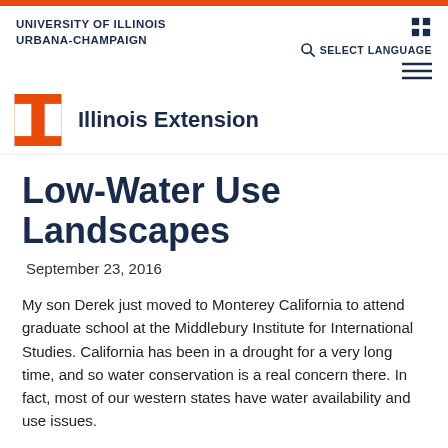UNIVERSITY OF ILLINOIS URBANA-CHAMPAIGN
[Figure (logo): University of Illinois Block I logo in orange, with 'Illinois Extension' text to the right]
Low-Water Use Landscapes
September 23, 2016
My son Derek just moved to Monterey California to attend graduate school at the Middlebury Institute for International Studies. California has been in a drought for a very long time, and so water conservation is a real concern there. In fact, most of our western states have water availability and use issues.
No matter where we live, we can all use water